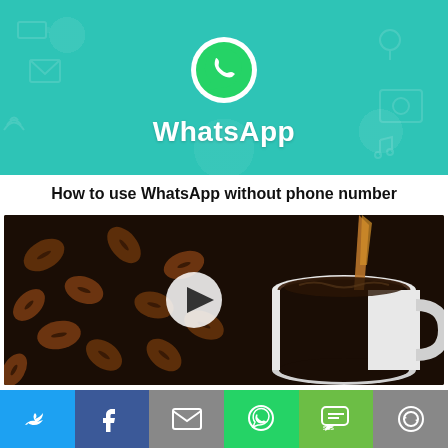[Figure (illustration): WhatsApp promotional banner with teal/turquoise background showing the WhatsApp logo (white phone handset on green speech bubble) and bold white WhatsApp wordmark below it, with faint technology/communication icon patterns in the background.]
How to use WhatsApp without phone number
[Figure (photo): Photo of coffee beans scattered on a surface next to a white ceramic mug with dark coffee being poured into it from above, with a white circular play button overlay in the center.]
Unique Coffee Alternatives to Try in 2021
[Figure (infographic): Social sharing bar at the bottom with six colored buttons: Twitter (blue bird icon), Facebook (blue f icon), Email (gray envelope icon), WhatsApp (green phone icon), SMS (green SMS bubble icon), and More/Share (gray circular arrows icon). Also a teal scroll-to-top arrow button on the right side.]